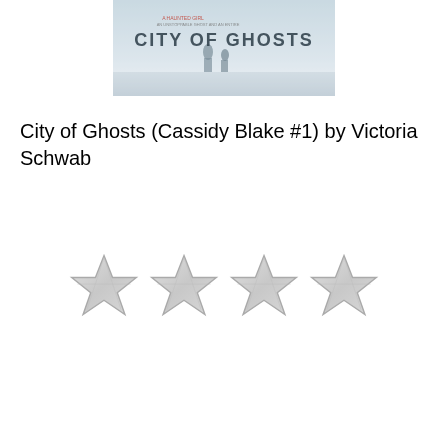[Figure (illustration): Book cover of 'City of Ghosts' by Victoria Schwab showing two figures walking in a foggy/misty scene with the title 'CITY OF GHOSTS' in large letters]
City of Ghosts (Cassidy Blake #1) by Victoria Schwab
[Figure (other): Four empty/outline star rating symbols arranged horizontally, indicating a 4-star rating graphic]